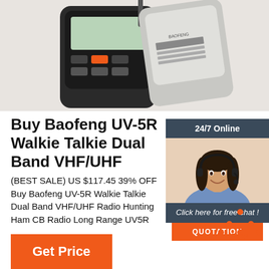[Figure (photo): Photo of Baofeng UV-5R walkie talkie devices on white background]
Buy Baofeng UV-5R Walkie Talkie Dual Band VHF/UHF
(BEST SALE) US $117.45 39% OFF Buy Baofeng UV-5R Walkie Talkie Dual Band VHF/UHF Radio Hunting Ham CB Radio Long Range UV5R FM Transceiver 5/6PC Radio From FD Radio Store. Enjoy Free Shipping Worldwide! Limited Time Sale Easy Return. Shop Quality & Best Walkie Talkie Directly From China Walkie Talkie Suppliers.
[Figure (photo): Chat widget with customer service agent photo, '24/7 Online' header, 'Click here for free chat!' text, and QUOTATION button]
[Figure (other): TOP button with orange triangle dots icon]
Get Price